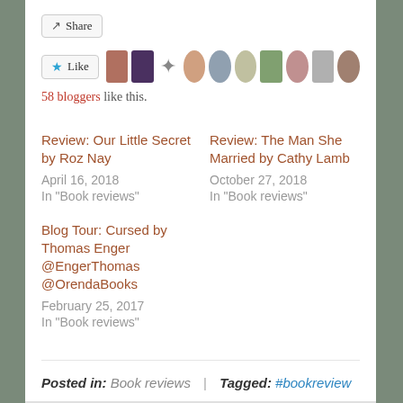[Figure (other): Share button with arrow icon]
[Figure (other): Like button with star icon and row of 10 blogger avatars/profile pictures]
58 bloggers like this.
Review: Our Little Secret by Roz Nay
April 16, 2018
In "Book reviews"
Review: The Man She Married by Cathy Lamb
October 27, 2018
In "Book reviews"
Blog Tour: Cursed by Thomas Enger @EngerThomas @OrendaBooks
February 25, 2017
In "Book reviews"
Posted in: Book reviews  |  Tagged: #bookreview